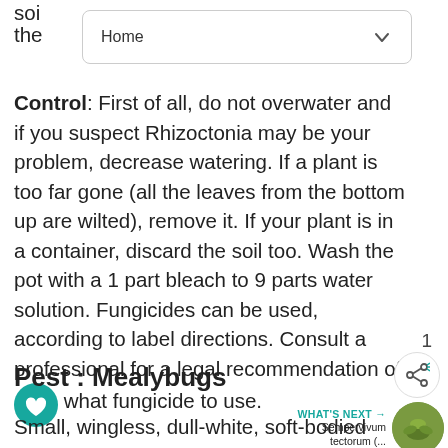soi... the...
[Figure (screenshot): Dropdown UI element with 'Home' label and chevron arrow, inside a rounded rectangle]
Control: First of all, do not overwater and if you suspect Rhizoctonia may be your problem, decrease watering. If a plant is too far gone (all the leaves from the bottom up are wilted), remove it. If your plant is in a container, discard the soil too. Wash the pot with a 1 part bleach to 9 parts water solution. Fungicides can be used, according to label directions. Consult a professional for a legal recommendation of what fungicide to use.
Pest : Mealybugs
[Figure (photo): Round thumbnail photo of Sempervivum tectorum plant with 'WHAT'S NEXT' label]
Small, wingless, dull-white, soft-bodied insects that produce a waxy powdery covering. They